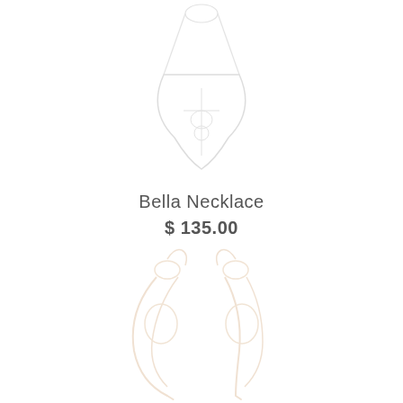[Figure (photo): Faint outline/ghost image of a necklace pendant on white background, top portion of page]
Bella Necklace
$ 135.00
[Figure (photo): Faint warm-toned outline/ghost image of earrings on white background, bottom portion of page]